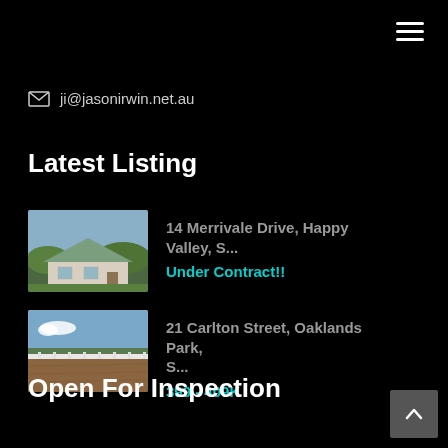☰
✉ ji@jasonirwin.net.au
Latest Listing
[Figure (photo): Aerial/bird's-eye view of a house with a tiled roof and circular garden driveway surrounded by lawn and trees]
14 Merrivale Drive, Happy Valley, S...
Under Contract!!
[Figure (photo): Vacant land with brown dirt/soil and a white fence, with trees and blue sky in the background]
21 Carlton Street, Oaklands Park, S...
399 - 409K
Open For Inspection